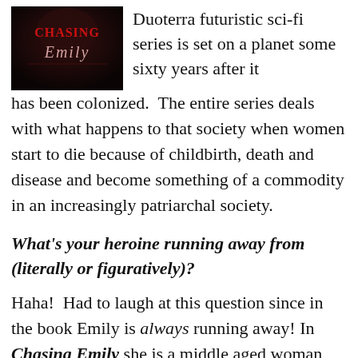[Figure (illustration): Book cover image for 'Chasing Emily' — dark background with stylized title text in red/crimson and script font.]
Duoterra futuristic sci-fi series is set on a planet some sixty years after it has been colonized. The entire series deals with what happens to that society when women start to die because of childbirth, death and disease and become something of a commodity in an increasingly patriarchal society.
What's your heroine running away from (literally or figuratively)?
Haha! Had to laugh at this question since in the book Emily is always running away! In Chasing Emily she is a middle aged woman